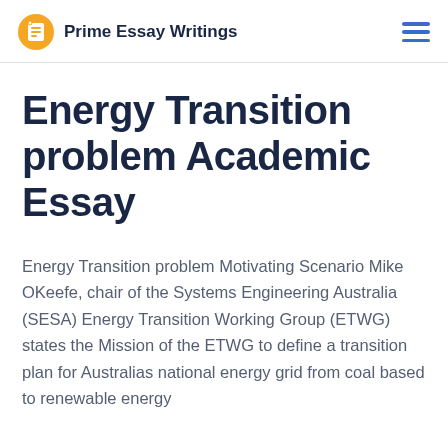Prime Essay Writings
Energy Transition problem Academic Essay
Energy Transition problem Motivating Scenario Mike OKeefe, chair of the Systems Engineering Australia (SESA) Energy Transition Working Group (ETWG) states the Mission of the ETWG to define a transition plan for Australias national energy grid from coal based to renewable energy